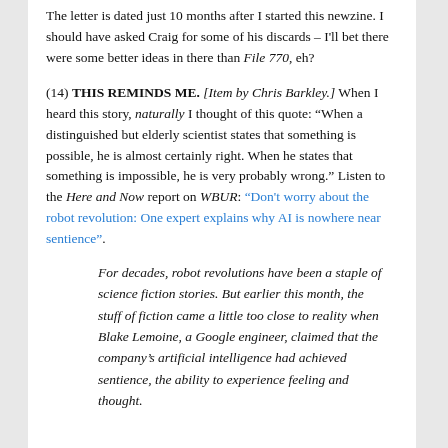The letter is dated just 10 months after I started this newzine. I should have asked Craig for some of his discards – I'll bet there were some better ideas in there than File 770, eh?
(14) THIS REMINDS ME. [Item by Chris Barkley.] When I heard this story, naturally I thought of this quote: “When a distinguished but elderly scientist states that something is possible, he is almost certainly right. When he states that something is impossible, he is very probably wrong.” Listen to the Here and Now report on WBUR: “Don’t worry about the robot revolution: One expert explains why AI is nowhere near sentience”.
For decades, robot revolutions have been a staple of science fiction stories. But earlier this month, the stuff of fiction came a little too close to reality when Blake Lemoine, a Google engineer, claimed that the company’s artificial intelligence had achieved sentience, the ability to experience feeling and thought.